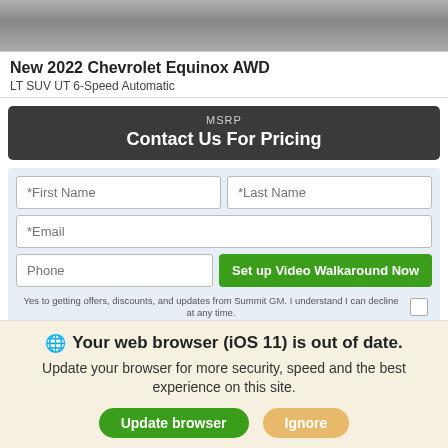[Figure (photo): Top portion of a car photo, showing roof and windshield area, grayscale]
New 2022 Chevrolet Equinox AWD
LT SUV UT 6-Speed Automatic
MSRP
Contact Us For Pricing
[Figure (screenshot): Contact form with fields: First Name, Last Name, Email, Phone, and a green 'Set up Video Walkaround Now' button, and a consent checkbox]
Yes to getting offers, discounts, and updates from Summit GM. I understand I can decline at any time.
[Figure (screenshot): CARFAX banner in black with logo and text 'Find out how much your trade-in is']
Your web browser (iOS 11) is out of date.
Update your browser for more security, speed and the best experience on this site.
Update browser  Ignore